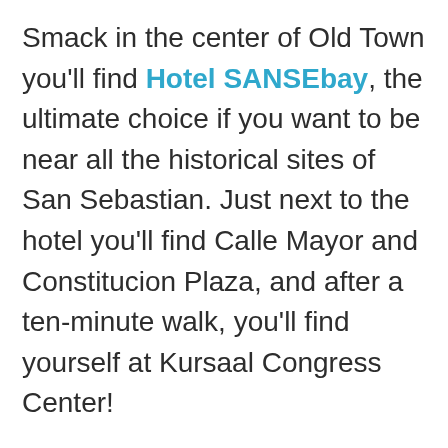Smack in the center of Old Town you'll find Hotel SANSEbay, the ultimate choice if you want to be near all the historical sites of San Sebastian. Just next to the hotel you'll find Calle Mayor and Constitucion Plaza, and after a ten-minute walk, you'll find yourself at Kursaal Congress Center!

The beach isn't far either, just a quick stroll across Alderi Eder Park.

The rooms are spacious and bright, with simple furniture, plush beds, and a flat